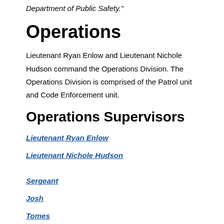Department of Public Safety."
Operations
Lieutenant Ryan Enlow and Lieutenant Nichole Hudson command the Operations Division. The Operations Division is comprised of the Patrol unit and Code Enforcement unit.
Operations Supervisors
Lieutenant Ryan Enlow
Lieutenant Nichole Hudson
Sergeant
Josh
Tomes